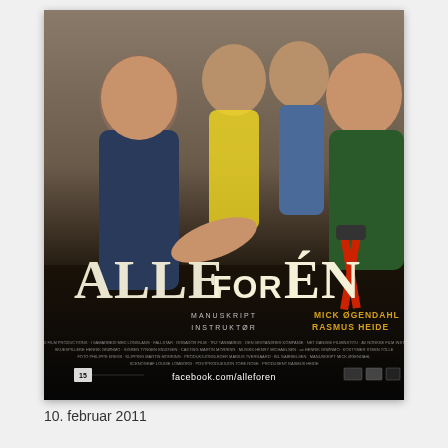[Figure (photo): Norwegian movie poster for 'Alle for én' (All for One) showing four men: one pointing at the viewer in the foreground, and three standing behind him, one holding bolt cutters. Title 'ALLE FOR ÉN' in large stylized text. Credits include Manuskript Mick Øgendahl, Instruktør Rasmus Heide. Website facebook.com/alleforen shown at bottom.]
10. februar 2011